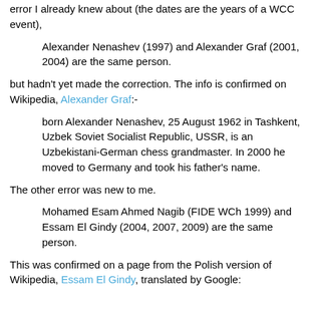error I already knew about (the dates are the years of a WCC event),
Alexander Nenashev (1997) and Alexander Graf (2001, 2004) are the same person.
but hadn't yet made the correction. The info is confirmed on Wikipedia, Alexander Graf:-
born Alexander Nenashev, 25 August 1962 in Tashkent, Uzbek Soviet Socialist Republic, USSR, is an Uzbekistani-German chess grandmaster. In 2000 he moved to Germany and took his father's name.
The other error was new to me.
Mohamed Esam Ahmed Nagib (FIDE WCh 1999) and Essam El Gindy (2004, 2007, 2009) are the same person.
This was confirmed on a page from the Polish version of Wikipedia, Essam El Gindy, translated by Google: